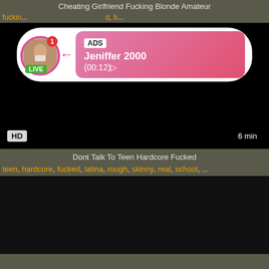Cheating Girlfriend Fucking Blonde Amateur
fucking, ..., d, b...
[Figure (screenshot): Video player with ad overlay showing live user profile for Jeniffer 2000 with timestamp (00:12), HD badge bottom left, 6 min duration bottom right]
Dont Talk To Teen Hardcore Fucked
teen, hardcore, fucked, latina, rough, skinny, real, school, ...
[Figure (screenshot): Second video player, dark/black content area]